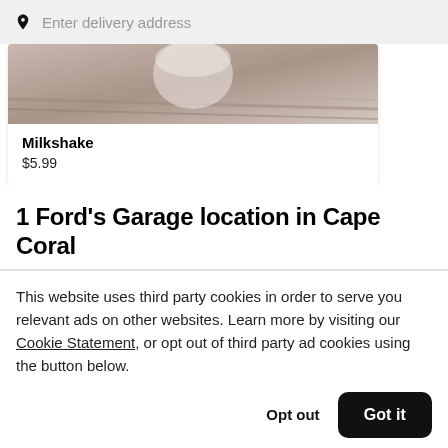Enter delivery address
[Figure (photo): Partial view of a milkshake product image, cropped at top]
Milkshake
$5.99
1 Ford's Garage location in Cape Coral
This website uses third party cookies in order to serve you relevant ads on other websites. Learn more by visiting our Cookie Statement, or opt out of third party ad cookies using the button below.
Opt out
Got it